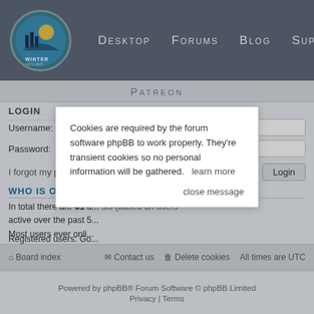[Figure (screenshot): Winter Wolves site logo - circular icon with castle/wolves theme]
Desktop  Forums  Blog  Support
Patreon
LOGIN
Username:
Password:
I forgot my password   Remember me  Login
WHO IS ONLINE
In total there are 61 u... guests (based on users active over the past 5... Most users ever onli...
Registered users: Go...
Legend: Administrators, Global moderators, Registered users
STATISTICS
Total posts 36820 • Total topics 1585 • Total members 1075 • Our newest member Hekatontach
Cookies are required by the forum software phpBB to work properly. They're transient cookies so no personal information will be gathered.   learn more

close message
Board index   Contact us   Delete cookies   All times are UTC
Powered by phpBB® Forum Software © phpBB Limited
Privacy | Terms